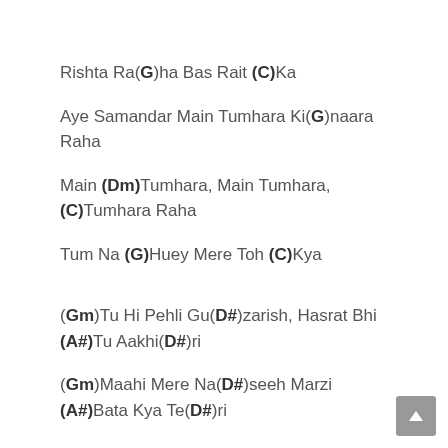Rishta Ra(G)ha Bas Rait (C)Ka
Aye Samandar Main Tumhara Ki(G)naara Raha
Main (Dm)Tumhara, Main Tumhara, (C)Tumhara Raha
Tum Na (G)Huey Mere Toh (C)Kya
(Gm)Tu Hi Pehli Gu(D#)zarish, Hasrat Bhi (A#)Tu Aakhi(D#)ri
(Gm)Maahi Mere Na(D#)seeh Marzi (A#)Bata Kya Te(D#)ri